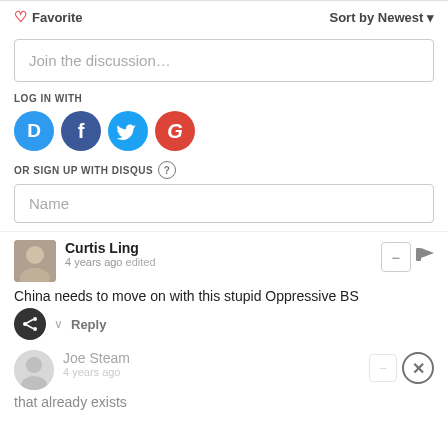♡ Favorite    Sort by Newest ▾
Join the discussion…
LOG IN WITH
[Figure (screenshot): Social login icons: Disqus (D), Facebook (f), Twitter bird, Google (G)]
OR SIGN UP WITH DISQUS ?
Name
Curtis Ling
4 years ago edited
China needs to move on with this stupid Oppressive BS
Reply
Joe Steam
4 years ago
that already exists